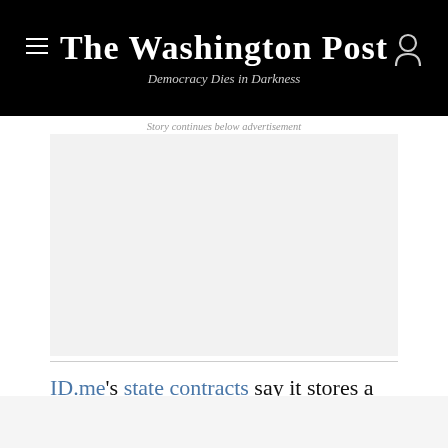The Washington Post — Democracy Dies in Darkness
Story continues below advertisement
[Figure (other): Advertisement placeholder — large light gray rectangle]
ID.me's state contracts say it stores a vast assortment of